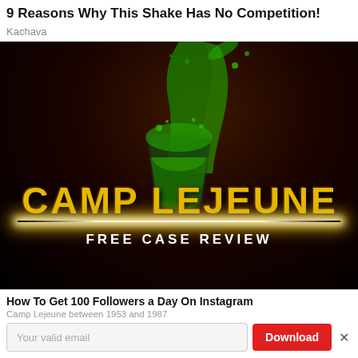9 Reasons Why This Shake Has No Competition!
Kachava
[Figure (photo): Advertisement image with dark red/black background showing a green liquid being poured into a glass splash. Bold yellow distressed text reads 'CAMP LEJEUNE' with a glowing line beneath it. Below that in white uppercase letters: 'FREE CASE REVIEW'.]
How To Get 100 Followers a Day On Instagram
Camp Lejeune between 1953 and 1987
Your valid email
Download
sio Uai